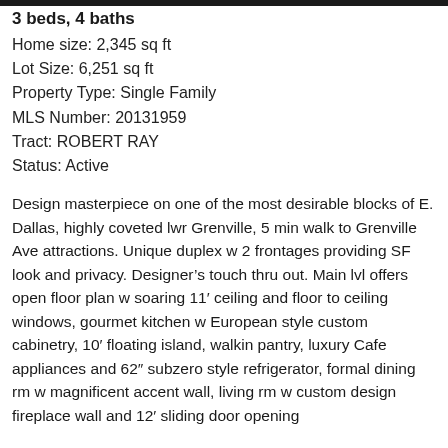[Figure (photo): Partial top of image visible as dark bar at top of page]
3 beds, 4 baths
Home size: 2,345 sq ft
Lot Size: 6,251 sq ft
Property Type: Single Family
MLS Number: 20131959
Tract: ROBERT RAY
Status: Active
Design masterpiece on one of the most desirable blocks of E. Dallas, highly coveted lwr Grenville, 5 min walk to Grenville Ave attractions. Unique duplex w 2 frontages providing SF look and privacy. Designer’s touch thru out. Main lvl offers open floor plan w soaring 11’ ceiling and floor to ceiling windows, gourmet kitchen w European style custom cabinetry, 10’ floating island, walkin pantry, luxury Cafe appliances and 62” subzero style refrigerator, formal dining rm w magnificent accent wall, living rm w custom design fireplace wall and 12’ sliding door opening